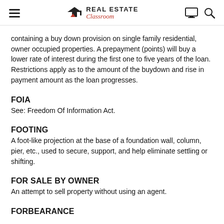Real Estate Classroom
containing a buy down provision on single family residential, owner occupied properties. A prepayment (points) will buy a lower rate of interest during the first one to five years of the loan. Restrictions apply as to the amount of the buydown and rise in payment amount as the loan progresses.
FOIA
See: Freedom Of Information Act.
FOOTING
A foot-like projection at the base of a foundation wall, column, pier, etc., used to secure, support, and help eliminate settling or shifting.
FOR SALE BY OWNER
An attempt to sell property without using an agent.
FORBEARANCE